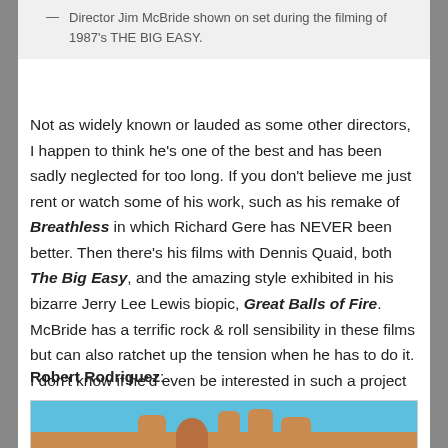— Director Jim McBride shown on set during the filming of 1987's THE BIG EASY.
Not as widely known or lauded as some other directors, I happen to think he's one of the best and has been sadly neglected for too long. If you don't believe me just rent or watch some of his work, such as his remake of Breathless in which Richard Gere has NEVER been better. Then there's his films with Dennis Quaid, both The Big Easy, and the amazing style exhibited in his bizarre Jerry Lee Lewis biopic, Great Balls of Fire. McBride has a terrific rock & roll sensibility in these films but can also ratchet up the tension when he has to do it. I don't know if he'd even be interested in such a project but I for one would love it if he was!
Robert Rodriguez:
[Figure (photo): Photo showing hands against a blue sky background, bottom portion of image visible]